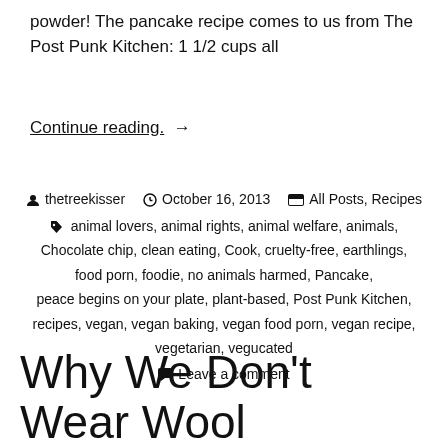powder! The pancake recipe comes to us from The Post Punk Kitchen: 1 1/2 cups all
Continue reading. →
thetreekisser  October 16, 2013  All Posts, Recipes  animal lovers, animal rights, animal welfare, animals, Chocolate chip, clean eating, Cook, cruelty-free, earthlings, food porn, foodie, no animals harmed, Pancake, peace begins on your plate, plant-based, Post Punk Kitchen, recipes, vegan, vegan baking, vegan food porn, vegan recipe, vegetarian, vegucated  Leave a comment
Why We Don't Wear Wool